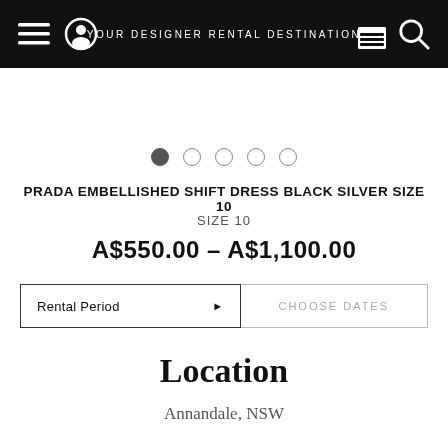YOUR DESIGNER RENTAL DESTINATION
[Figure (screenshot): Image carousel dots: one filled circle followed by four empty circles, indicating a product image slideshow with the first image selected]
PRADA EMBELLISHED SHIFT DRESS BLACK SILVER SIZE 10
SIZE 10
A$550.00 - A$1,100.00
Rental Period ▶
CHOOSE DATES
Location
Annandale, NSW